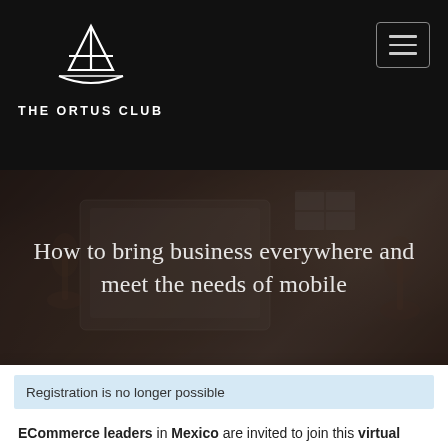THE ORTUS CLUB
[Figure (photo): Hero image showing a laptop with a video call, wine glasses on a dark table, overlaid with text: 'How to bring business everywhere and meet the needs of mobile']
How to bring business everywhere and meet the needs of mobile
Registration is no longer possible
ECommerce leaders in Mexico are invited to join this virtual wine-tasting roundtable on ‘How to bring business everywhere and meet the needs of mobile’.
An expert moderator will guide the knowledge-sharing conversation during discussions between participating senior executives.